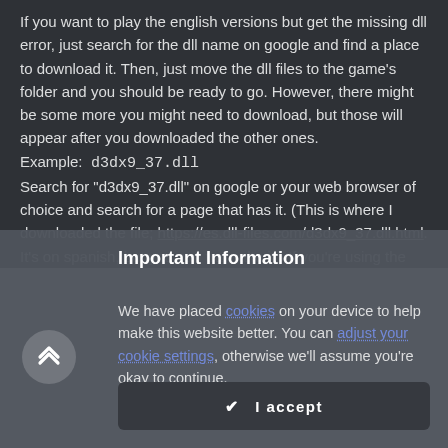If you want to play the english versions but get the missing dll error, just search for the dll name on google and find a place to download it. Then, just move the dll files to the game's folder and you should be ready to go. However, there might be some more you might need to download, but those will appear after you downloaded the other ones. Example:  d3dx9_37.dll
Search for "d3dx9_37.dll" on google or your web browser of choice and search for a page that has it. (This is where I downloaded the file; https://es.dll-files.com/d3dx9_37.dll.html. It's on spanish, but you can transalte it.) If you're using the same page as me, just scroll
Important Information
We have placed cookies on your device to help make this website better. You can adjust your cookie settings, otherwise we'll assume you're okay to continue.
✔  I accept